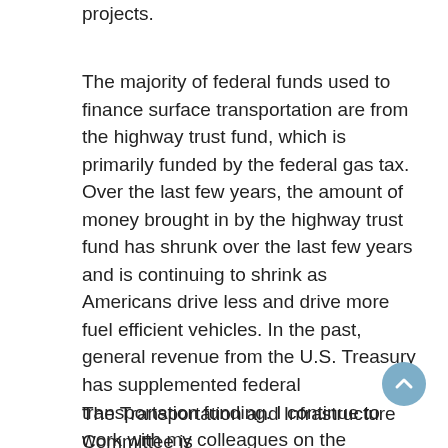projects.
The majority of federal funds used to finance surface transportation are from the highway trust fund, which is primarily funded by the federal gas tax. Over the last few years, the amount of money brought in by the highway trust fund has shrunk over the last few years and is continuing to shrink as Americans drive less and drive more fuel efficient vehicles. In the past, general revenue from the U.S. Treasury has supplemented federal transportation funding. I continue to work with my colleagues on the Transportation Committee to determine if there are other sources of revenue that will not impede the ability of the American people or commercial goods to travel across the country.
The Transportation and Infrastructure Committee is